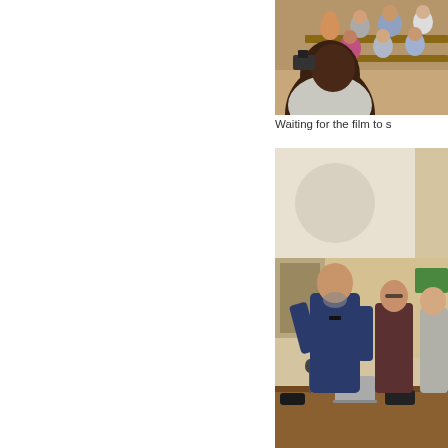[Figure (photo): People seated in an auditorium/lecture hall waiting for a film screening. A young man in the foreground seen from behind, others visible in tiered seating rows.]
Waiting for the film to s
[Figure (photo): Several people standing at the front of a lecture hall near a podium/table with a laptop and microphone. A man in a dark blue shirt with a beard appears to be speaking or presenting.]